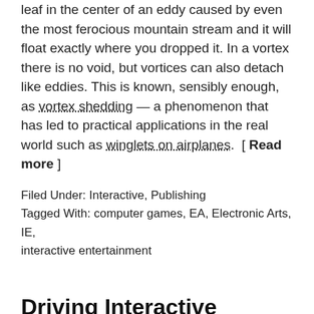leaf in the center of an eddy caused by even the most ferocious mountain stream and it will float exactly where you dropped it. In a vortex there is no void, but vortices can also detach like eddies. This is known, sensibly enough, as vortex shedding — a phenomenon that has led to practical applications in the real world such as winglets on airplanes.  [ Read more ]
Filed Under: Interactive, Publishing
Tagged With: computer games, EA, Electronic Arts, IE, interactive entertainment
Driving Interactive Interest
August 23, 2011 By Mark — Leave a Comment